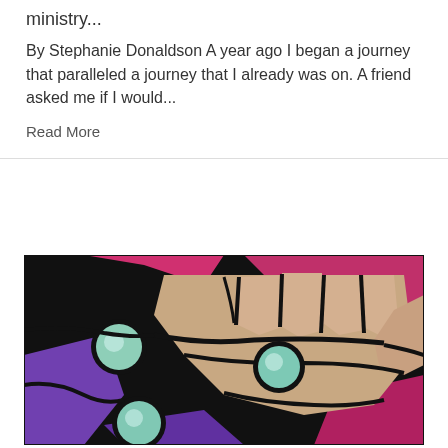ministry...
By Stephanie Donaldson A year ago I began a journey that paralleled a journey that I already was on. A friend asked me if I would...
Read More
[Figure (photo): Close-up photograph of a stained glass window depicting an open hand with glowing circular orbs in shades of teal/green, set against vibrant pink, purple, and black leading.]